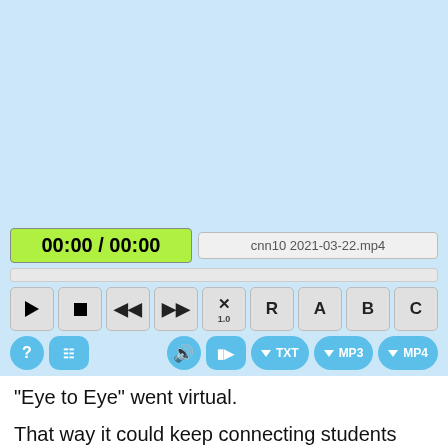[Figure (screenshot): Media player interface with light blue background, showing timecode '00:00 / 00:00', filename 'cnn10 2021-03-22.mp4', progress bar, playback control buttons (play, stop, rewind, fast-forward, X/1.0, R, A, B, C), and bottom row of blue buttons (help, menu, volume, video, TXT download, MP3 download, MP4 download)]
"Eye to Eye" went virtual.
That way it could keep connecting students who have learning disabilities with students who are different in